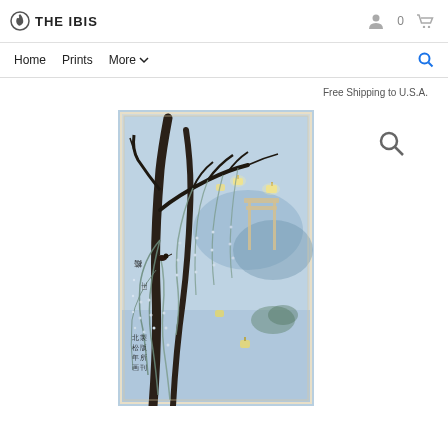THE IBIS — Home | Prints | More | 0 cart items
Free Shipping to U.S.A.
[Figure (illustration): Japanese woodblock print showing a night scene with weeping willow/cherry blossom trees in the foreground, a torii gate visible in the background, lanterns glowing over water, in soft blue-grey tones with Japanese calligraphy text on the left side.]